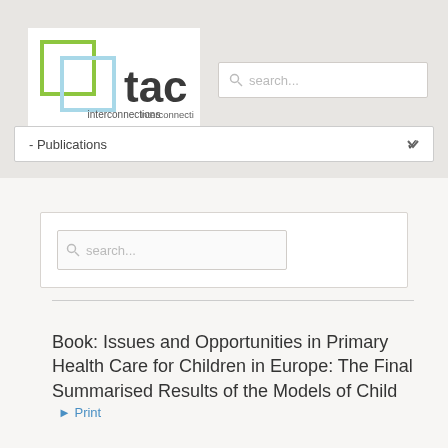[Figure (logo): TAC Interconnections logo — two overlapping squares (green and light blue outline) beside bold 'tac' text and 'interconnections' below]
search...
- Publications
search...
Book: Issues and Opportunities in Primary Health Care for Children in Europe: The Final Summarised Results of the Models of Child